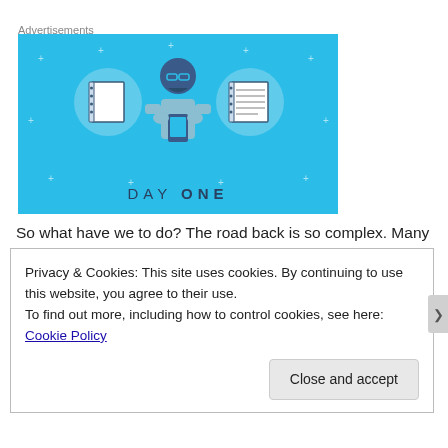Advertisements
[Figure (illustration): Day One app advertisement banner with light blue background showing a person holding a phone flanked by two notebook icons in circles, with 'DAY ONE' text at the bottom]
So what have we to do? The road back is so complex. Many
Privacy & Cookies: This site uses cookies. By continuing to use this website, you agree to their use.
To find out more, including how to control cookies, see here: Cookie Policy
Close and accept